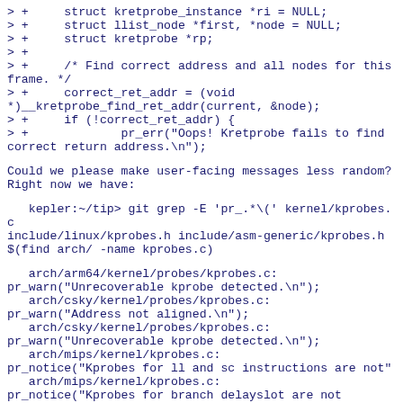> +     struct kretprobe_instance *ri = NULL;
> +     struct llist_node *first, *node = NULL;
> +     struct kretprobe *rp;
> +
> +     /* Find correct address and all nodes for this frame. */
> +     correct_ret_addr = (void *)__kretprobe_find_ret_addr(current, &node);
> +     if (!correct_ret_addr) {
> +             pr_err("Oops! Kretprobe fails to find correct return address.\n");
Could we please make user-facing messages less random?
Right now we have:
kepler:~/tip> git grep -E 'pr_.*\(' kernel/kprobes.c include/linux/kprobes.h include/asm-generic/kprobes.h $(find arch/ -name kprobes.c)
arch/arm64/kernel/probes/kprobes.c:
pr_warn("Unrecoverable kprobe detected.\n");
   arch/csky/kernel/probes/kprobes.c:
pr_warn("Address not aligned.\n");
   arch/csky/kernel/probes/kprobes.c:
pr_warn("Unrecoverable kprobe detected.\n");
   arch/mips/kernel/kprobes.c:
pr_notice("Kprobes for ll and sc instructions are not"
   arch/mips/kernel/kprobes.c:
pr_notice("Kprobes for branch delayslot are not supported\n");